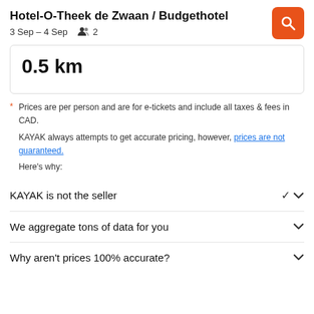Hotel-O-Theek de Zwaan / Budgethotel
3 Sep – 4 Sep  👥 2
0.5 km
* Prices are per person and are for e-tickets and include all taxes & fees in CAD.
KAYAK always attempts to get accurate pricing, however, prices are not guaranteed.
Here's why:
KAYAK is not the seller
We aggregate tons of data for you
Why aren't prices 100% accurate?